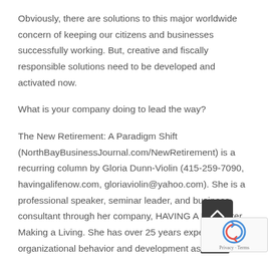Obviously, there are solutions to this major worldwide concern of keeping our citizens and businesses successfully working. But, creative and fiscally responsible solutions need to be developed and activated now.

What is your company doing to lead the way?

The New Retirement: A Paradigm Shift (NorthBayBusinessJournal.com/NewRetirement) is a recurring column by Gloria Dunn-Violin (415-259-7090, havingalifenow.com, gloriaviolin@yahoo.com). She is a professional speaker, seminar leader, and business consultant through her company, HAVING A LIFE After Making a Living. She has over 25 years experience in organizational behavior and development as a trainer, facilitator, consultant and coach. She also advises